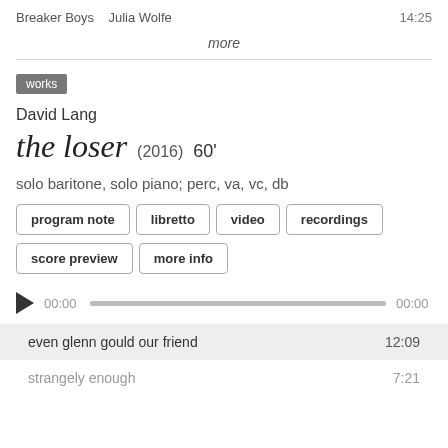Breaker Boys   Julia Wolfe   14:25
more
works
David Lang
the loser  (2016)  60'
solo baritone, solo piano; perc, va, vc, db
program note
libretto
video
recordings
score preview
more info
00:00   00:00
even glenn gould our friend   12:09
strangely enough   7:21